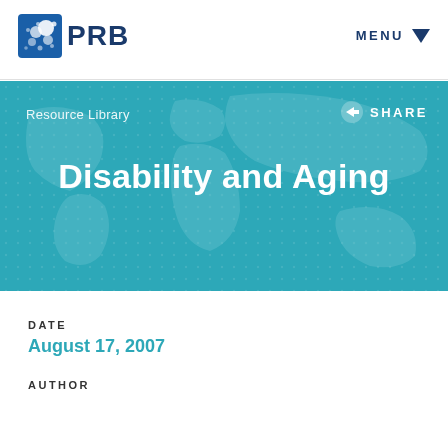PRB  MENU
[Figure (screenshot): PRB logo with blue globe icon and bold PRB text, navigation bar with MENU and dropdown arrow]
Resource Library
SHARE
Disability and Aging
DATE
August 17, 2007
AUTHOR